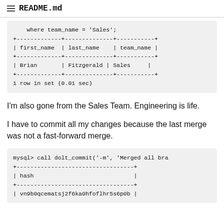README.md
where team_name = 'Sales';
+-------------+--------------+-----------+
| first_name  | last_name    | team_name |
+-------------+--------------+-----------+
| Brian       | Fitzgerald | Sales     |
+-------------+--------------+-----------+
1 row in set (0.01 sec)
I'm also gone from the Sales Team. Engineering is life.
I have to commit all my changes because the last merge was not a fast-forward merge.
mysql> call dolt_commit('-m', 'Merged all bra
+----------------------------------+
| hash                             |
+----------------------------------+
| vn9b0qcematsj2f6ka0hfoflhr5s6p0b |